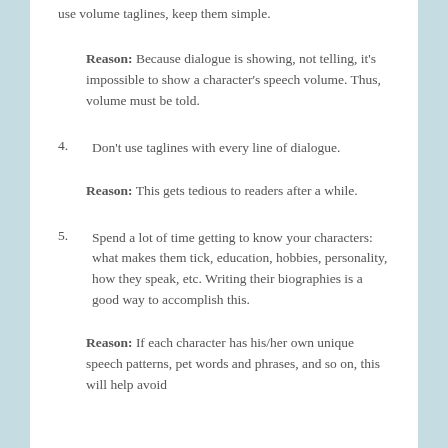use volume taglines, keep them simple.
Reason: Because dialogue is showing, not telling, it's impossible to show a character's speech volume. Thus, volume must be told.
4.    Don't use taglines with every line of dialogue.
Reason: This gets tedious to readers after a while.
5.    Spend a lot of time getting to know your characters: what makes them tick, education, hobbies, personality, how they speak, etc. Writing their biographies is a good way to accomplish this.
Reason: If each character has his/her own unique speech patterns, pet words and phrases, and so on, this will help avoid